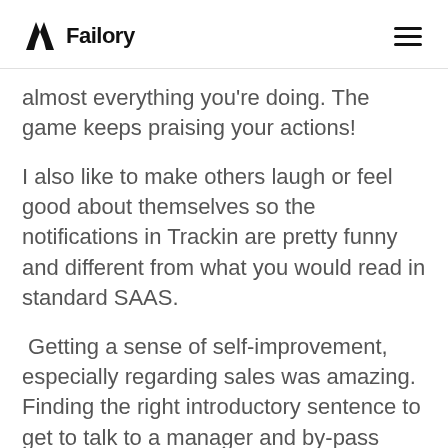Failory
almost everything you're doing. The game keeps praising your actions!
I also like to make others laugh or feel good about themselves so the notifications in Trackin are pretty funny and different from what you would read in standard SAAS.
Getting a sense of self-improvement, especially regarding sales was amazing. Finding the right introductory sentence to get to talk to a manager and by-pass employees, being aware of what to